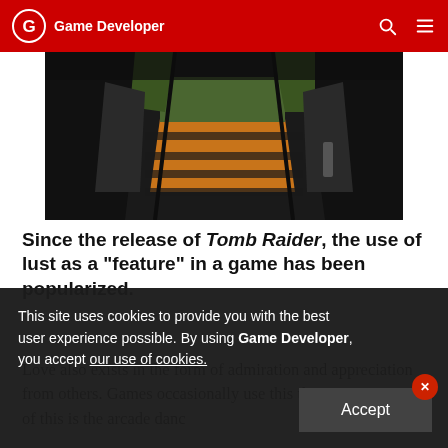Game Developer
[Figure (photo): Low-polygon 3D rendering of Lara Croft from Tomb Raider, showing a close-up of her torso and legs with orange-brown color scheme on dark background]
Since the release of Tomb Raider, the use of lust as a "feature" in a game has been popularized.
Love also exists in the form of admiration and appreciation from others. Games occasionally use this theme. An example of this is the arcade danc
This site uses cookies to provide you with the best user experience possible. By using Game Developer, you accept our use of cookies.